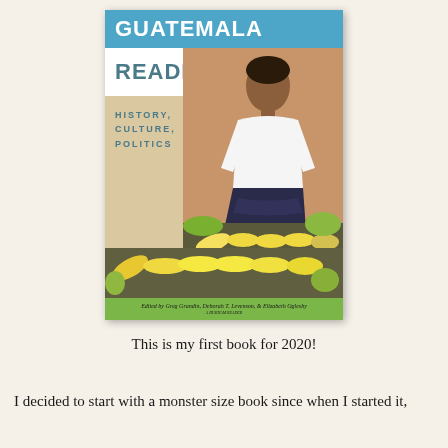[Figure (photo): Book cover of 'The Guatemala Reader: History, Culture, Politics' edited by Greg Grandin, Deborah T. Levenson, & Elizabeth Oglesby. Cover shows a Guatemalan woman in a white t-shirt standing behind a display of corn/vegetables at a market. The cover has a blue band at top with 'GUATEMALA', a white band with 'READER', subtitle 'History, Culture, Politics' on the left, and a green footer band with editors' names.]
This is my first book for 2020!
I decided to start with a monster size book since when I started it,